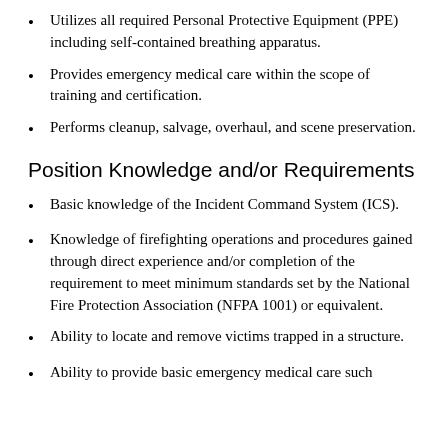Utilizes all required Personal Protective Equipment (PPE) including self-contained breathing apparatus.
Provides emergency medical care within the scope of training and certification.
Performs cleanup, salvage, overhaul, and scene preservation.
Position Knowledge and/or Requirements
Basic knowledge of the Incident Command System (ICS).
Knowledge of firefighting operations and procedures gained through direct experience and/or completion of the requirement to meet minimum standards set by the National Fire Protection Association (NFPA 1001) or equivalent.
Ability to locate and remove victims trapped in a structure.
Ability to provide basic emergency medical care such